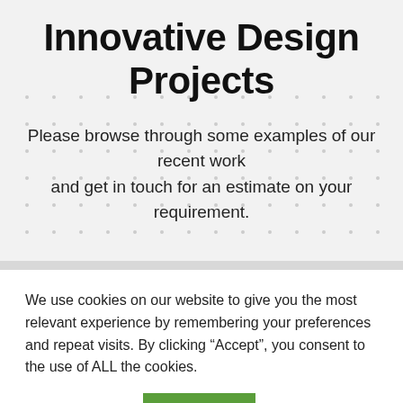Innovative Design Projects
Please browse through some examples of our recent work and get in touch for an estimate on your requirement.
We use cookies on our website to give you the most relevant experience by remembering your preferences and repeat visits. By clicking “Accept”, you consent to the use of ALL the cookies.
Cookie settings   ACCEPT